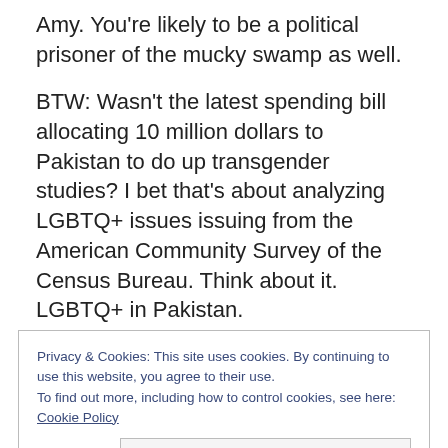Amy. You're likely to be a political prisoner of the mucky swamp as well.
BTW: Wasn't the latest spending bill allocating 10 million dollars to Pakistan to do up transgender studies? I bet that's about analyzing LGBTQ+ issues issuing from the American Community Survey of the Census Bureau. Think about it. LGBTQ+ in Pakistan.
Having said all that, I will be happy to greet any Federal agents of the American Community Survey of the U.S. Census Bureau of the U.S. Department of Commerce with
Privacy & Cookies: This site uses cookies. By continuing to use this website, you agree to their use.
To find out more, including how to control cookies, see here: Cookie Policy
Close/Accept [We also use StatCounter!]
interested in any truth whatsoever.